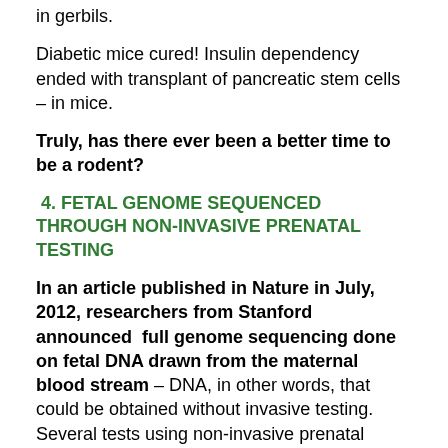in gerbils.
Diabetic mice cured!  Insulin dependency ended with transplant of pancreatic stem cells – in mice.
Truly, has there ever been a better time to be a rodent?
4. FETAL GENOME SEQUENCED THROUGH NON-INVASIVE PRENATAL TESTING
In an article published in Nature in July, 2012, researchers from Stanford announced  full genome sequencing done on fetal DNA drawn from the maternal blood stream – DNA, in other words, that could be obtained without invasive testing.  Several tests using non-invasive prenatal testing are already on the market, notably Sequenom's MaterniT21 PLUS, the success of